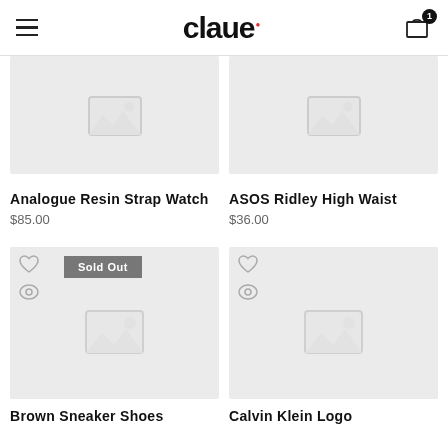claue — e-commerce product listing page
[Figure (screenshot): Product image placeholder for Analogue Resin Strap Watch]
Analogue Resin Strap Watch
$85.00
[Figure (screenshot): Product image placeholder for ASOS Ridley High Waist]
ASOS Ridley High Waist
$36.00
[Figure (screenshot): Product image placeholder for Brown Sneaker Shoes, with Sold Out badge]
Brown Sneaker Shoes
[Figure (screenshot): Product image placeholder for Calvin Klein Logo]
Calvin Klein Logo